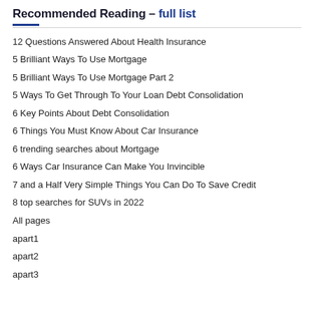Recommended Reading – full list
12 Questions Answered About Health Insurance
5 Brilliant Ways To Use Mortgage
5 Brilliant Ways To Use Mortgage Part 2
5 Ways To Get Through To Your Loan Debt Consolidation
6 Key Points About Debt Consolidation
6 Things You Must Know About Car Insurance
6 trending searches about Mortgage
6 Ways Car Insurance Can Make You Invincible
7 and a Half Very Simple Things You Can Do To Save Credit
8 top searches for SUVs in 2022
All pages
apart1
apart2
apart3